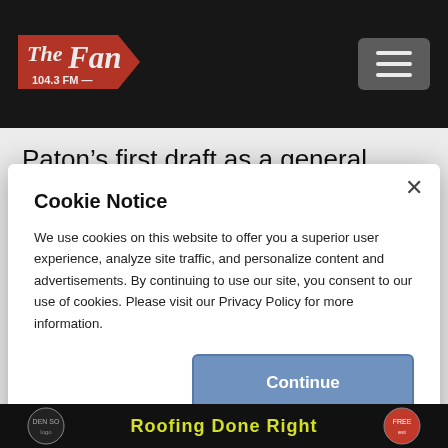[Figure (logo): The Fan 104.3 FM radio station logo in red script with arrow graphic on dark header bar]
Paton’s first draft as a general manager and getting it right may have been more important than stealing headlines. Which is
Cookie Notice
We use cookies on this website to offer you a superior user experience, analyze site traffic, and personalize content and advertisements. By continuing to use our site, you consent to our use of cookies. Please visit our Privacy Policy for more information.
Continue
[Figure (other): Advertisement banner at bottom: Roofing Done Right with circular logo icons]